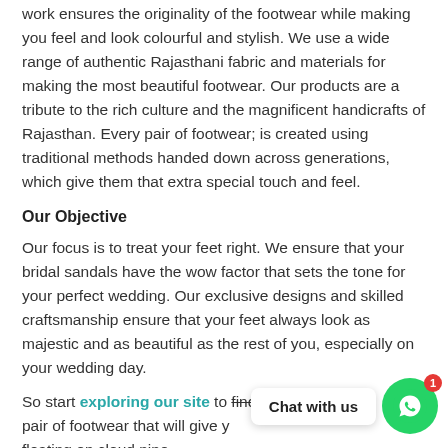work ensures the originality of the footwear while making you feel and look colourful and stylish. We use a wide range of authentic Rajasthani fabric and materials for making the most beautiful footwear. Our products are a tribute to the rich culture and the magnificent handicrafts of Rajasthan. Every pair of footwear; is created using traditional methods handed down across generations, which give them that extra special touch and feel.
Our Objective
Our focus is to treat your feet right. We ensure that your bridal sandals have the wow factor that sets the tone for your perfect wedding. Our exclusive designs and skilled craftsmanship ensure that your feet always look as majestic and as beautiful as the rest of you, especially on your wedding day.
So start exploring our site to find that perfect pair of footwear that will give you a feeling of floating on cloud nine.